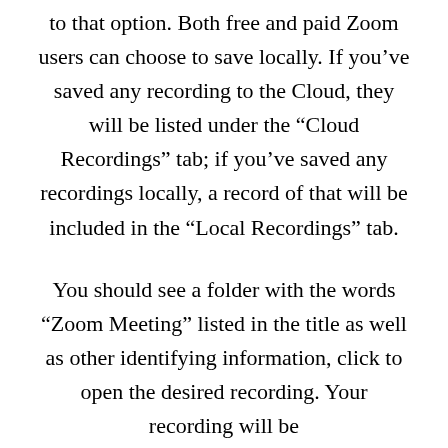to that option. Both free and paid Zoom users can choose to save locally. If you’ve saved any recording to the Cloud, they will be listed under the “Cloud Recordings” tab; if you’ve saved any recordings locally, a record of that will be included in the “Local Recordings” tab.
You should see a folder with the words “Zoom Meeting” listed in the title as well as other identifying information, click to open the desired recording. Your recording will be